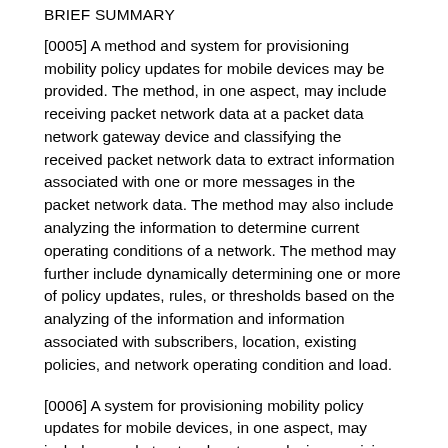BRIEF SUMMARY
[0005] A method and system for provisioning mobility policy updates for mobile devices may be provided. The method, in one aspect, may include receiving packet network data at a packet data network gateway device and classifying the received packet network data to extract information associated with one or more messages in the packet network data. The method may also include analyzing the information to determine current operating conditions of a network. The method may further include dynamically determining one or more of policy updates, rules, or thresholds based on the analyzing of the information and information associated with subscribers, location, existing policies, and network operating condition and load.
[0006] A system for provisioning mobility policy updates for mobile devices, in one aspect, may include a packet network gateway device receiving packet network data and serving as an entry and exit point for the packet network data from one or more user equipments. A filter module resident in the packet network gateway device may be operable to receive a flow of the network data and